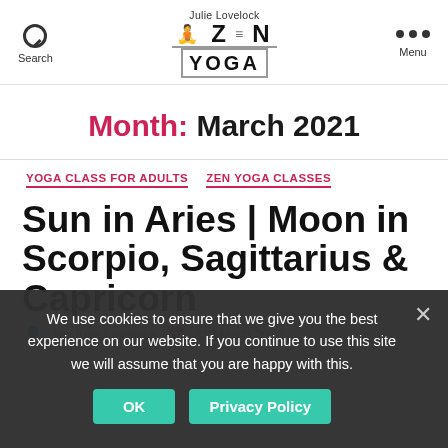Julie Lovelock Zen Yoga — Search / Menu header
Month: March 2021
YOGA CLASS FOR ADULTS   ZEN YOGA CLASSES
Sun in Aries | Moon in Scorpio, Sagittarius & Capricorn
By Julie Lovelock   31 March 2021
We use cookies to ensure that we give you the best experience on our website. If you continue to use this site we will assume that you are happy with this.